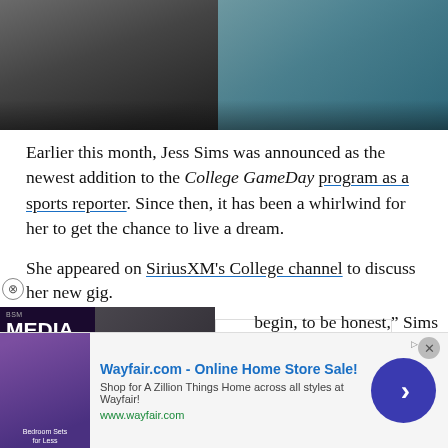[Figure (photo): Partial view of a person in athletic wear at a gym/exercise machine, cropped to show torso and arms]
Earlier this month, Jess Sims was announced as the newest addition to the College GameDay program as a sports reporter. Since then, it has been a whirlwind for her to get the chance to live a dream.
She appeared on SiriusXM's College channel to discuss her new gig.
...to begin, to be honest," Sims ...oving forward, but it only ...ards. Even with the whole
[Figure (screenshot): Media Noise podcast widget with BSM branding and a person in background]
[Figure (logo): Nielsen logo on white background]
[Figure (infographic): Advertisement banner: Wayfair.com - Online Home Store Sale! Shop for A Zillion Things Home across all styles at Wayfair! www.wayfair.com]